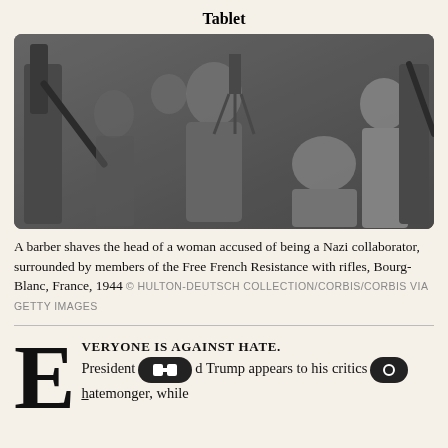Tablet
[Figure (photo): Black and white photograph of a barber shaving the head of a woman accused of being a Nazi collaborator, surrounded by members of the Free French Resistance with rifles, Bourg-Blanc, France, 1944.]
A barber shaves the head of a woman accused of being a Nazi collaborator, surrounded by members of the Free French Resistance with rifles, Bourg-Blanc, France, 1944 © HULTON-DEUTSCH COLLECTION/CORBIS/CORBIS VIA GETTY IMAGES
EVERYONE IS AGAINST HATE. President [button] Trump appears to his critics [button] hatemonger, while